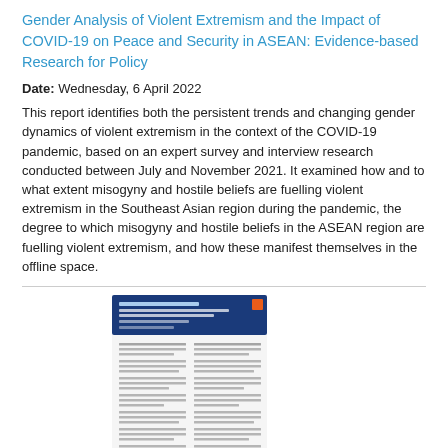Gender Analysis of Violent Extremism and the Impact of COVID-19 on Peace and Security in ASEAN: Evidence-based Research for Policy
Date: Wednesday, 6 April 2022
This report identifies both the persistent trends and changing gender dynamics of violent extremism in the context of the COVID-19 pandemic, based on an expert survey and interview research conducted between July and November 2021. It examined how and to what extent misogyny and hostile beliefs are fuelling violent extremism in the Southeast Asian region during the pandemic, the degree to which misogyny and hostile beliefs in the ASEAN region are fuelling violent extremism, and how these manifest themselves in the offline space.
[Figure (other): Thumbnail image of a document cover page with blue header and white body text columns, with a small temple/institution icon at the bottom left]
Project Explainer: Empowering Women for Sustainable Peace: Preventing Violence and Promoting Social Cohesion in ASEAN